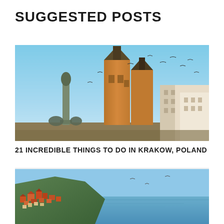SUGGESTED POSTS
[Figure (photo): Photo of Krakow, Poland main square with St. Mary's Basilica, Adam Mickiewicz monument, and birds flying in the sky]
21 INCREDIBLE THINGS TO DO IN KRAKOW, POLAND
[Figure (photo): Aerial coastal city photo with colorful rooftops and blue sea/bay in background]